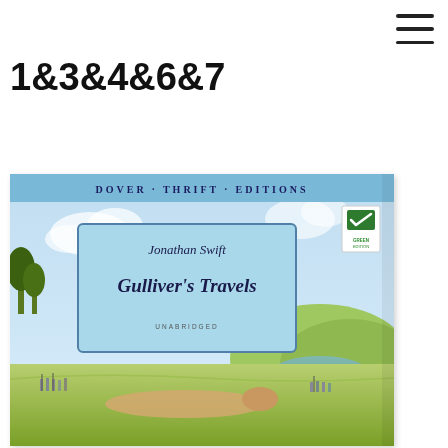☰
1&3&4&6&7
[Figure (illustration): Book cover of Gulliver's Travels by Jonathan Swift, Dover Thrift Editions. Light blue background with top banner reading DOVER · THRIFT · EDITIONS, a blue rounded-rectangle title box with author name Jonathan Swift and title Gulliver's Travels (UNABRIDGED), a green edition badge in top right, and illustrated scene below showing miniature soldiers and Gulliver lying on the ground in a pastoral landscape.]